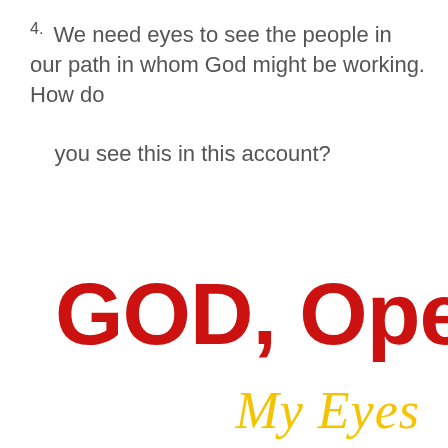4. We need eyes to see the people in our path in whom God might be working. How do you see this in this account?
GOD, Open My Eyes